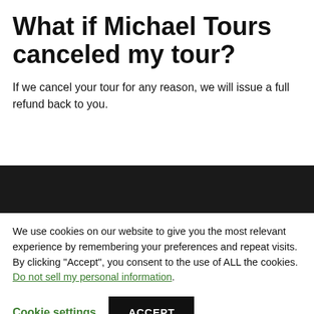What if Michael Tours canceled my tour?
If we cancel your tour for any reason, we will issue a full refund back to you.
We use cookies on our website to give you the most relevant experience by remembering your preferences and repeat visits. By clicking “Accept”, you consent to the use of ALL the cookies. Do not sell my personal information.
Cookie settings   ACCEPT